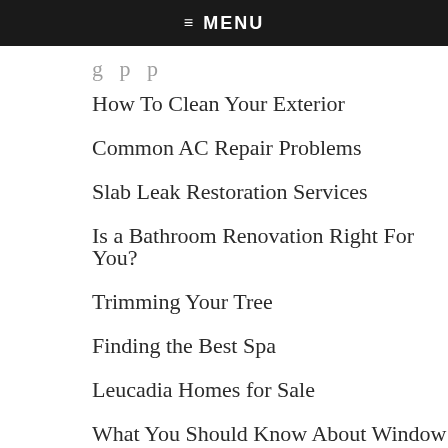≡ MENU
How To Clean Your Exterior
Common AC Repair Problems
Slab Leak Restoration Services
Is a Bathroom Renovation Right For You?
Trimming Your Tree
Finding the Best Spa
Leucadia Homes for Sale
What You Should Know About Window Tinting
Choosing a Tree Service for Your Tree Removal Needs